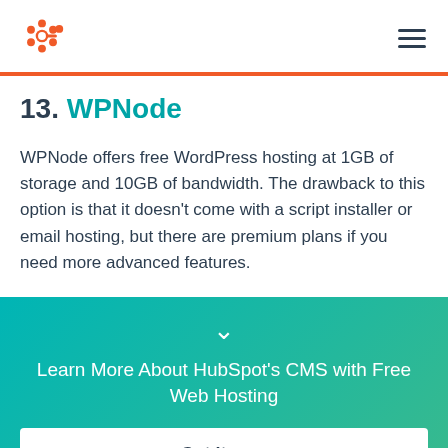HubSpot logo and navigation menu
13. WPNode
WPNode offers free WordPress hosting at 1GB of storage and 10GB of bandwidth. The drawback to this option is that it doesn't come with a script installer or email hosting, but there are premium plans if you need more advanced features.
Learn More About HubSpot's CMS with Free Web Hosting
Get it now